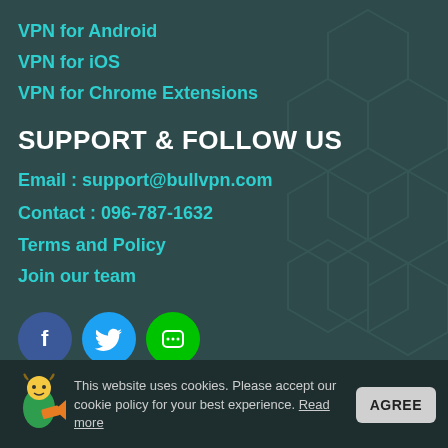VPN for Android
VPN for iOS
VPN for Chrome Extensions
SUPPORT & FOLLOW US
Email : support@bullvpn.com
Contact : 096-787-1632
Terms and Policy
Join our team
[Figure (illustration): Social media icons row: Facebook (blue circle with f), Twitter (light blue circle with bird), Line (green circle with chat icon)]
This website uses cookies. Please accept our cookie policy for your best experience. Read more
Copyright © 2014 - 2022 Persec Co., Ltd. 49/181 Moo 2 Ban Pun, Muang, Chonburi 20130 Thailand